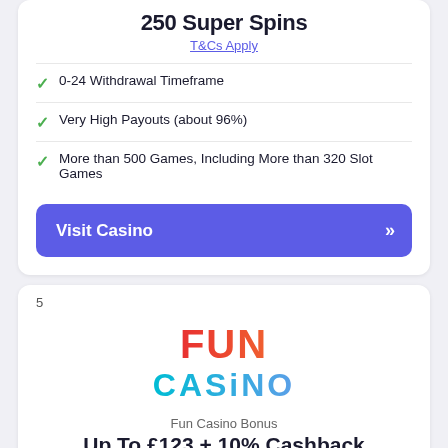250 Super Spins
T&Cs Apply
0-24 Withdrawal Timeframe
Very High Payouts (about 96%)
More than 500 Games, Including More than 320 Slot Games
Visit Casino
5
[Figure (logo): Fun Casino logo with FUN in red gradient and CASINO in cyan/blue gradient]
Fun Casino Bonus
Up To £123 + 10% Cashback
T&Cs Apply
Instant Play